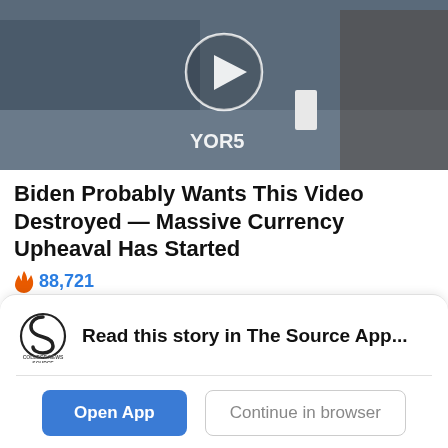[Figure (screenshot): Video thumbnail showing two people at a desk in a TV studio setting with a play button overlay and 'YOR5' watermark text]
Biden Probably Wants This Video Destroyed — Massive Currency Upheaval Has Started
🔥 88,721
Sponsored Ad
SDSU went into halftime down, 1-0, a deficit which quickly became 4-0 after the Lions (11-10) scored
Read this story in The Source App...
Open App
Continue in browser